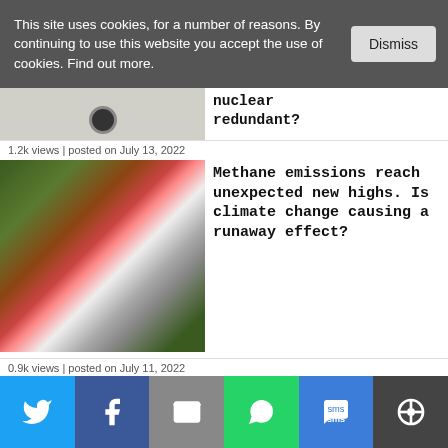This site uses cookies, for a number of reasons. By continuing to use this website you accept the use of cookies. Find out more.
Dismiss
[Figure (photo): Partial image of nuclear-related content (cut off at top)]
nuclear redundant?
1.2k views | posted on July 13, 2022
[Figure (photo): Aerial photo of a wildfire with smoke plumes rising from burning terrain]
Methane emissions reach unexpected new highs. Is climate change causing a runaway effect?
0.9k views | posted on July 11, 2022
[Figure (screenshot): Partial screenshot of a chart titled 'Production Process Evolution' showing a bar chart with CO2 related data]
Project Air: building a first-of-a-kind